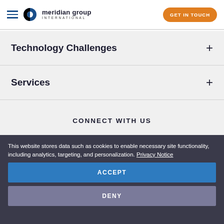[Figure (logo): Meridian Group International logo with hamburger menu and GET IN TOUCH button]
Technology Challenges
Services
CONNECT WITH US
[Figure (illustration): Social media icons: Facebook, Twitter, LinkedIn, YouTube]
This website stores data such as cookies to enable necessary site functionality, including analytics, targeting, and personalization. Privacy Notice
ACCEPT
DENY